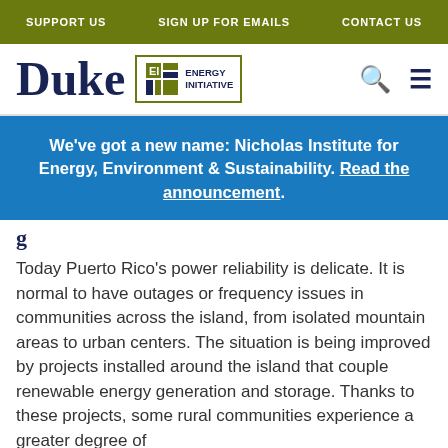SUPPORT US   SIGN UP FOR EMAILS   CONTACT US
[Figure (logo): Duke Energy Initiative logo with search and menu icons]
We've got a new name: Nicholas Institute for Energy, Environment & Sustainability. Read the announcement.
g
Today Puerto Rico's power reliability is delicate. It is normal to have outages or frequency issues in communities across the island, from isolated mountain areas to urban centers. The situation is being improved by projects installed around the island that couple renewable energy generation and storage. Thanks to these projects, some rural communities experience a greater degree of